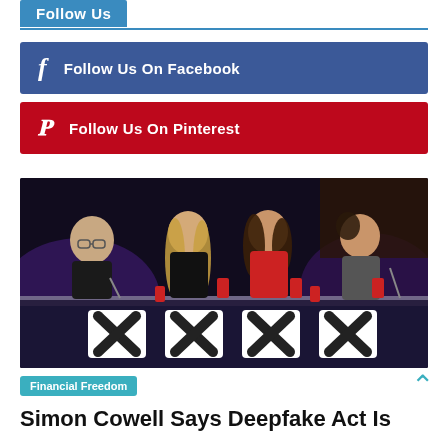Follow Us
Follow Us On Facebook
Follow Us On Pinterest
[Figure (photo): Four judges (including Simon Cowell) sitting at an illuminated judging panel with X logos, in a TV show studio setting with purple audience lighting in the background.]
Financial Freedom
Simon Cowell Says Deepfake Act Is